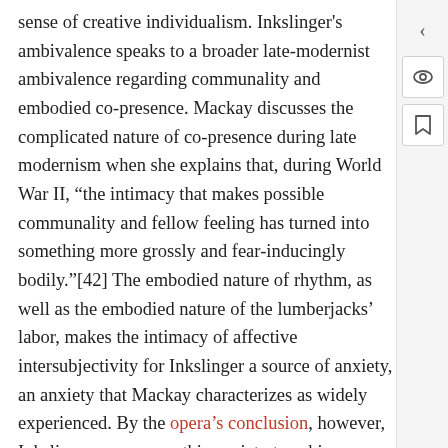sense of creative individualism. Inkslinger's ambivalence speaks to a broader late-modernist ambivalence regarding communality and embodied co-presence. Mackay discusses the complicated nature of co-presence during late modernism when she explains that, during World War II, “the intimacy that makes possible communality and fellow feeling has turned into something more grossly and fear-inducingly bodily.”[42] The embodied nature of rhythm, as well as the embodied nature of the lumberjacks’ labor, makes the intimacy of affective intersubjectivity for Inkslinger a source of anxiety, an anxiety that Mackay characterizes as widely experienced. By the opera’s conclusion, however, Inkslinger overcomes this anxiety to achieve an intimate and affectionate bond with Bunyan. The opera ends with a Christmas party where Inkslinger bids farewell to the lumberjacks, saving Paul for the